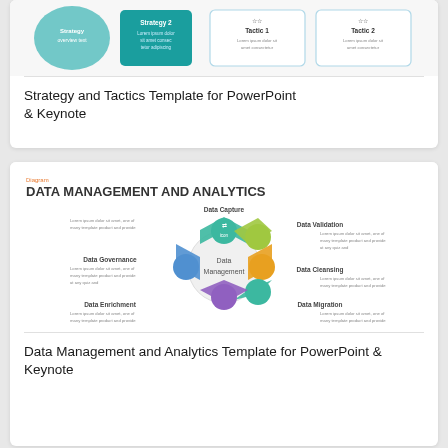[Figure (infographic): Strategy and Tactics template preview showing strategy boxes and tactic cards in teal/blue colors]
Strategy and Tactics Template for PowerPoint & Keynote
[Figure (infographic): Data Management and Analytics diagram showing a hexagonal cycle with Data Capture, Data Validation, Data Cleansing, Data Migration, Data Enrichment, Data Governance sections around a central Data Management hub]
Data Management and Analytics Template for PowerPoint & Keynote